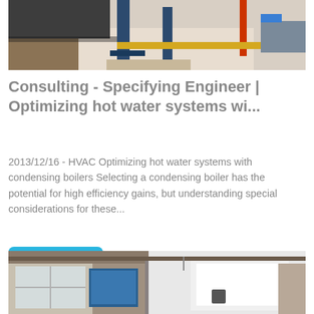[Figure (photo): Industrial boiler room with blue steel structure, red pole, yellow pipes, and mechanical equipment on a light-colored floor.]
Consulting - Specifying Engineer | Optimizing hot water systems wi...
2013/12/16 - HVAC Optimizing hot water systems with condensing boilers Selecting a condensing boiler has the potential for high efficiency gains, but understanding special considerations for these...
Get Price
[Figure (photo): Industrial facility interior showing large white panel equipment and blue machinery in a warehouse with overhead crane rails.]